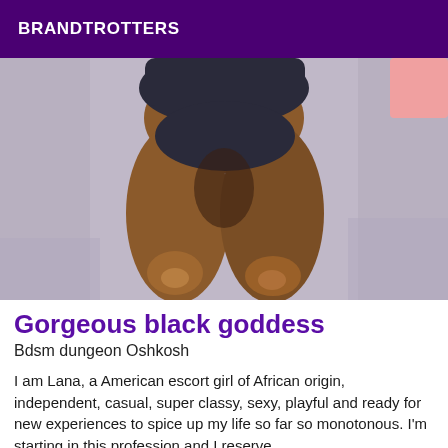BRANDTROTTERS
[Figure (photo): Close-up photo of a person's legs and lower body against a grey textile/carpet background, wearing dark underwear. Pink element visible in top right corner.]
Gorgeous black goddess
Bdsm dungeon Oshkosh
I am Lana, a American escort girl of African origin, independent, casual, super classy, sexy, playful and ready for new experiences to spice up my life so far so monotonous. I'm starting in this profession and I reserve